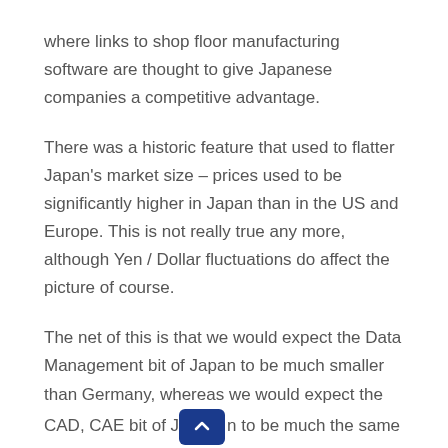where links to shop floor manufacturing software are thought to give Japanese companies a competitive advantage.
There was a historic feature that used to flatter Japan's market size – prices used to be significantly higher in Japan than in the US and Europe. This is not really true any more, although Yen / Dollar fluctuations do affect the picture of course.
The net of this is that we would expect the Data Management bit of Japan to be much smaller than Germany, whereas we would expect the CAD, CAE bit of Japan to be much the same as Germany.